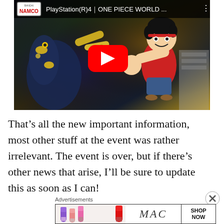[Figure (screenshot): YouTube video thumbnail showing PlayStation(R)4 ONE PIECE WORLD game with anime characters and a red play button. NAMCO logo in top-left corner.]
That’s all the new important information, most other stuff at the event was rather irrelevant. The event is over, but if there’s other news that arise, I’ll be sure to update this as soon as I can!
[Figure (advertisement): MAC cosmetics advertisement showing lipsticks in purple, pink, and red with MAC logo text and SHOP NOW button in a bordered banner.]